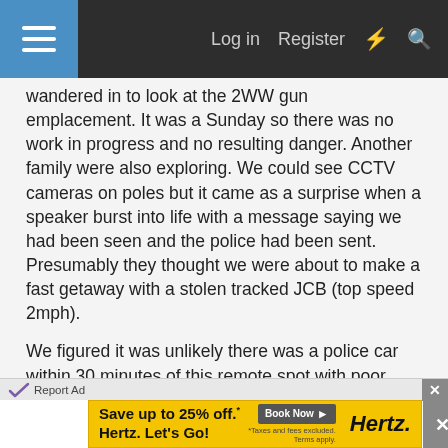Log in  Register
wandered in to look at the 2WW gun emplacement. It was a Sunday so there was no work in progress and no resulting danger. Another family were also exploring. We could see CCTV cameras on poles but it came as a surprise when a speaker burst into life with a message saying we had been seen and the police had been sent. Presumably they thought we were about to make a fast getaway with a stolen tracked JCB (top speed 2mph).
We figured it was unlikely there was a police car within 30 minutes of this remote spot with poor road access, and they certainly couldn't drive on shingle, so we simply strolled back to Shingle Street along the beach.
[Figure (screenshot): Hertz car rental advertisement banner: 'Save up to 25% off. Hertz. Let's Go!' with Book Now button and Hertz logo on yellow background]